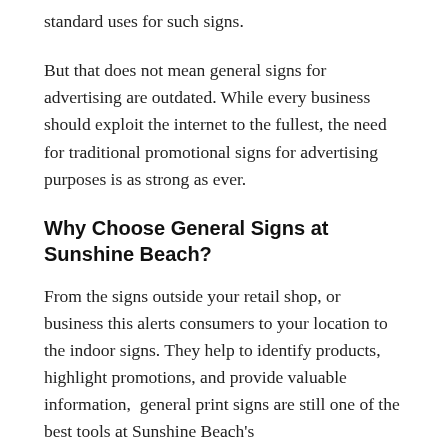standard uses for such signs.
But that does not mean general signs for advertising are outdated. While every business should exploit the internet to the fullest, the need for traditional promotional signs for advertising purposes is as strong as ever.
Why Choose General Signs at Sunshine Beach?
From the signs outside your retail shop, or business this alerts consumers to your location to the indoor signs. They help to identify products, highlight promotions, and provide valuable information,  general print signs are still one of the best tools at Sunshine Beach's